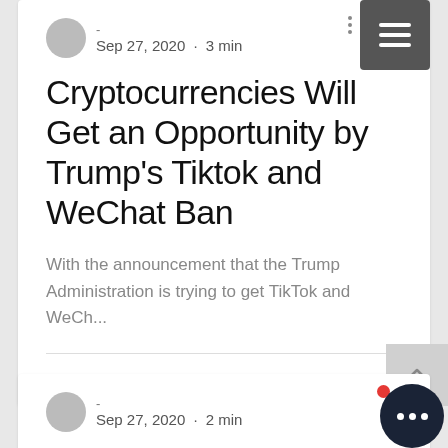Sep 27, 2020 · 3 min
Cryptocurrencies Will Get an Opportunity by Trump's Tiktok and WeChat Ban
With the announcement that the Trump Administration is trying to get TikTok and WeCh...
Sep 27, 2020 · 2 min
Now There Is a